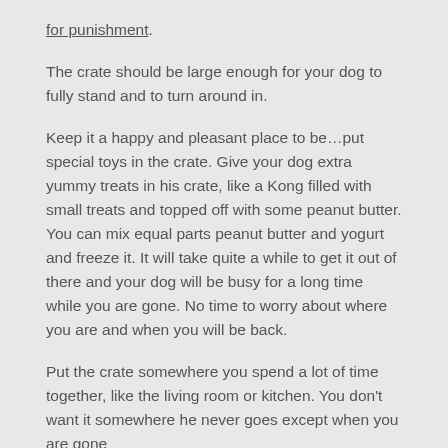for punishment.
The crate should be large enough for your dog to fully stand and to turn around in.
Keep it a happy and pleasant place to be…put special toys in the crate. Give your dog extra yummy treats in his crate, like a Kong filled with small treats and topped off with some peanut butter. You can mix equal parts peanut butter and yogurt and freeze it. It will take quite a while to get it out of there and your dog will be busy for a long time while you are gone. No time to worry about where you are and when you will be back.
Put the crate somewhere you spend a lot of time together, like the living room or kitchen. You don't want it somewhere he never goes except when you are gone